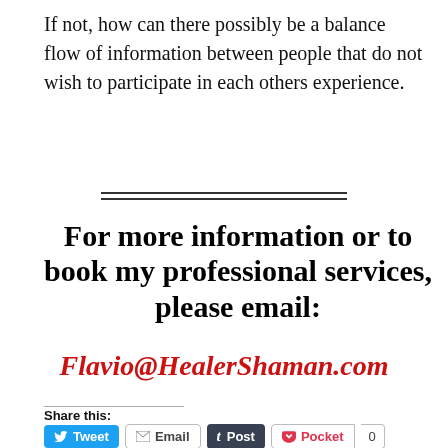If not, how can there possibly be a balance flow of information between people that do not wish to participate in each others experience.
For more information or to book my professional services, please email:
Flavio@HealerShaman.com
Share this:
Tweet | Email | Post | Pocket | 0 | SHARE | Print | Save